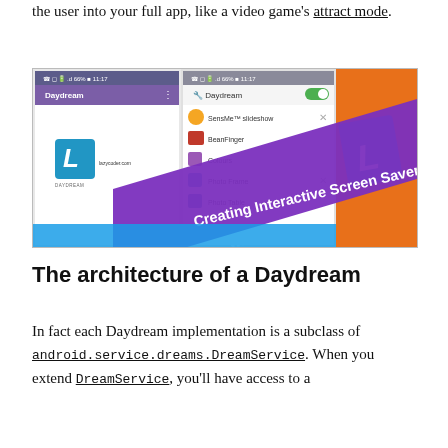the user into your full app, like a video game's attract mode.
[Figure (screenshot): Screenshot showing Android Daydream app settings on two phone screens alongside an orange graphic, with a purple diagonal banner reading 'Creating Interactive Screen Saver with Daydream']
The architecture of a Daydream
In fact each Daydream implementation is a subclass of android.service.dreams.DreamService. When you extend DreamService, you'll have access to a